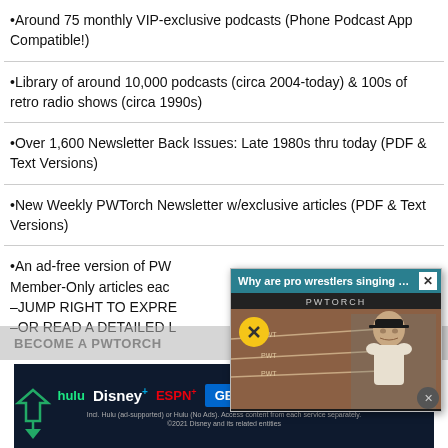Around 75 monthly VIP-exclusive podcasts (Phone Podcast App Compatible!)
Library of around 10,000 podcasts (circa 2004-today) & 100s of retro radio shows (circa 1990s)
Over 1,600 Newsletter Back Issues: Late 1980s thru today (PDF & Text Versions)
New Weekly PWTorch Newsletter w/exclusive articles (PDF & Text Versions)
An ad-free version of PW[Torch]... Member-Only articles each... –JUMP RIGHT TO EXPRE... –OR READ A DETAILED L...
[Figure (screenshot): Video popup overlay showing 'Why are pro wrestlers singing on the w...' with PWTORCH branding and a man in a black cap in a wrestling ring setting, with mute button and close button]
BECOME A PWTORCH
[Figure (infographic): Disney Bundle advertisement showing hulu, Disney+, ESPN+ logos with 'GET THE DISNEY BUNDLE' call to action and fine print about Hulu ad-supported/no ads options. ©2021 Disney and its related entities]